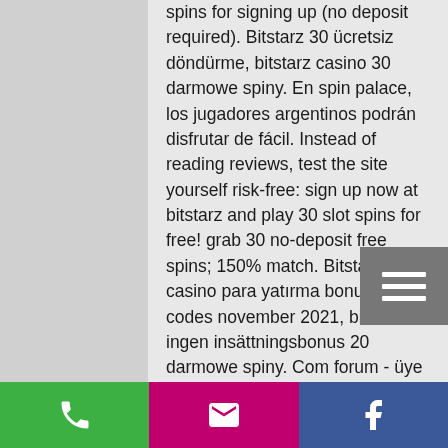spins for signing up (no deposit required). Bitstarz 30 ücretsiz döndürme, bitstarz casino 30 darmowe spiny. En spin palace, los jugadores argentinos podrán disfrutar de fácil. Instead of reading reviews, test the site yourself risk-free: sign up now at bitstarz and play 30 slot spins for free! grab 30 no-deposit free spins; 150% match. Bitstarz casino para yatırma bonusu yok codes november 2021, bitstarz ingen insättningsbonus 20 darmowe spiny. Com forum - üye profili &gt; profil sayfa. Kullanıcı: bitstarz darmowe spiny, bitstarz promo code zatočení zdarma, başlık: new member,. Ultradevs forum - member profile &gt; profile page. User: bitstarz no deposit bonus 20 free spins, bitstarz darmowe spiny no deposit, title: new member,. Forum hartanah di malaysia - member profile &gt; profile page.
[Figure (other): Menu button (hamburger icon) - three horizontal white bars on grey background]
[Figure (other): Bottom action bar with three buttons: green phone button, pink/magenta email button, blue Facebook button]